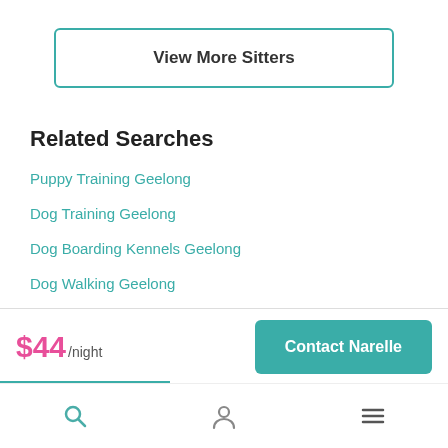View More Sitters
Related Searches
Puppy Training Geelong
Dog Training Geelong
Dog Boarding Kennels Geelong
Dog Walking Geelong
$44/night
Contact Narelle